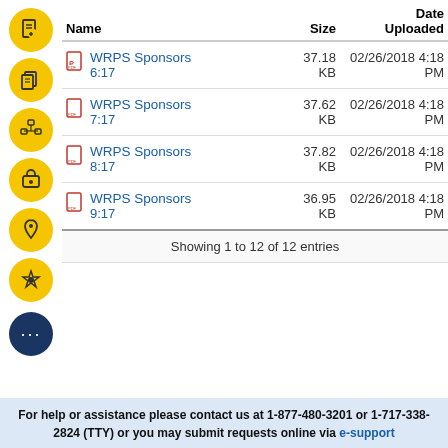| Name | Size | Date Uploaded |
| --- | --- | --- |
| WRPS Sponsors 6:17 | 37.18 KB | 02/26/2018 4:18 PM |
| WRPS Sponsors 7:17 | 37.62 KB | 02/26/2018 4:18 PM |
| WRPS Sponsors 8:17 | 37.82 KB | 02/26/2018 4:18 PM |
| WRPS Sponsors 9:17 | 36.95 KB | 02/26/2018 4:18 PM |
| Showing 1 to 12 of 12 entries |  |  |
For help or assistance please contact us at 1-877-480-3201 or 1-717-338-2824 (TTY) or you may submit requests online via e-support